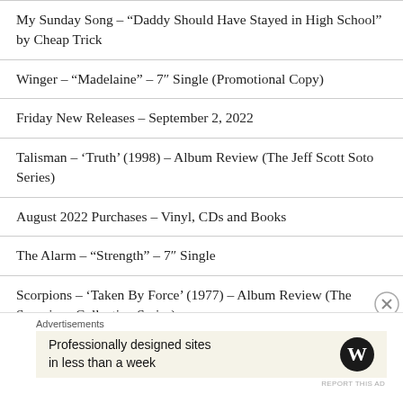My Sunday Song – “Daddy Should Have Stayed in High School” by Cheap Trick
Winger – “Madelaine” – 7″ Single (Promotional Copy)
Friday New Releases – September 2, 2022
Talisman – ‘Truth’ (1998) – Album Review (The Jeff Scott Soto Series)
August 2022 Purchases – Vinyl, CDs and Books
The Alarm – “Strength” – 7″ Single
Scorpions – ‘Taken By Force’ (1977) – Album Review (The Scorpions Collection Series)
My Sunday Song – “Sick Man of Europe” by Cheap Trick
Advertisements
Professionally designed sites in less than a week